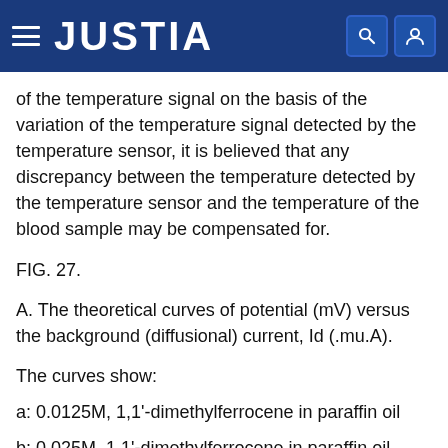JUSTIA
of the temperature signal on the basis of the variation of the temperature signal detected by the temperature sensor, it is believed that any discrepancy between the temperature detected by the temperature sensor and the temperature of the blood sample may be compensated for.
FIG. 27.
A. The theoretical curves of potential (mV) versus the background (diffusional) current, Id (.mu.A).
The curves show:
a: 0.0125M, 1,1'-dimethylferrocene in paraffin oil
b: 0.025M, 1,1'-dimethylferrocene in paraffin oil
c: 0.05M, 1,1'-dimethylferrocene in paraffin oil